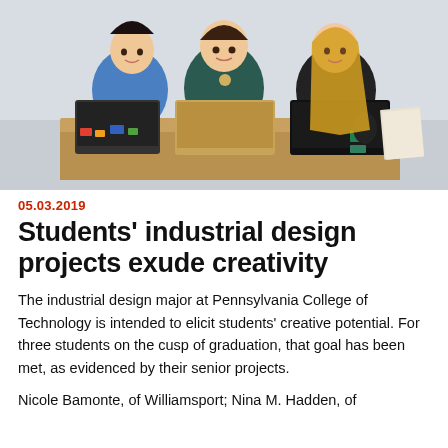[Figure (photo): Three female students standing behind a table with laptops open, smiling at the camera in a classroom setting.]
05.03.2019
Students’ industrial design projects exude creativity
The industrial design major at Pennsylvania College of Technology is intended to elicit students’ creative potential. For three students on the cusp of graduation, that goal has been met, as evidenced by their senior projects.
Nicole Bamonte, of Williamsport; Nina M. Hadden, of